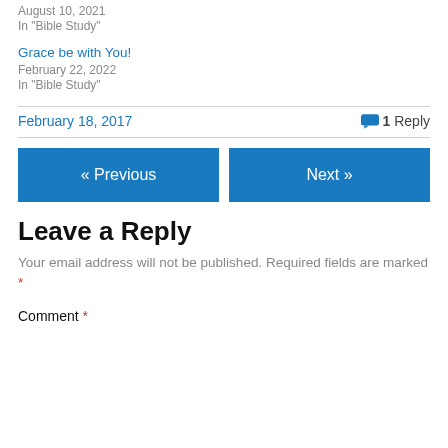August 10, 2021
In "Bible Study"
Grace be with You!
February 22, 2022
In "Bible Study"
February 18, 2017
1 Reply
« Previous
Next »
Leave a Reply
Your email address will not be published. Required fields are marked *
Comment *